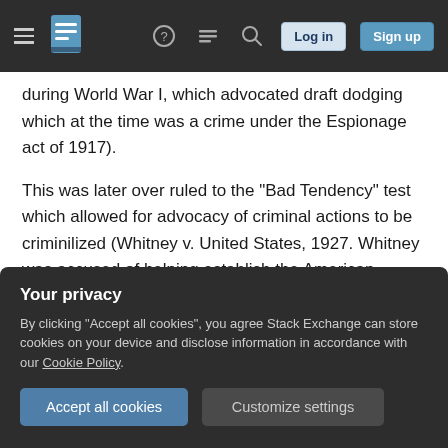Stack Exchange navigation bar with hamburger menu, logo, help, chat, search icons, Log in and Sign up buttons
during World War I, which advocated draft dodging which at the time was a crime under the Espionage act of 1917).
This was later over ruled to the "Bad Tendency" test which allowed for advocacy of criminal actions to be criminilized (Whitney v. United States, 1927. Whitney was accused of helping establish the American Communist Labor Party (ACLP), which held as a party platform the violent overthrow of the U.S. Government in favor of one advocated by the
Your privacy
By clicking "Accept all cookies", you agree Stack Exchange can store cookies on your device and disclose information in accordance with our Cookie Policy.
Accept all cookies   Customize settings